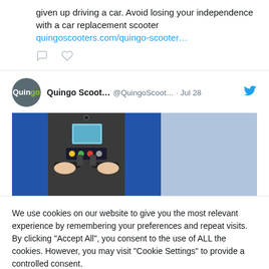given up driving a car. Avoid losing your independence with a car replacement scooter quingoscooters.com/quingo-scooter…
[Figure (screenshot): Twitter post by Quingo Scoot... @QuingoScoot... · Jul 28, showing a photo of a mobility scooter dashboard/handlebars with a display screen, surrounded by blue shopping basket sides]
We use cookies on our website to give you the most relevant experience by remembering your preferences and repeat visits. By clicking "Accept All", you consent to the use of ALL the cookies. However, you may visit "Cookie Settings" to provide a controlled consent.